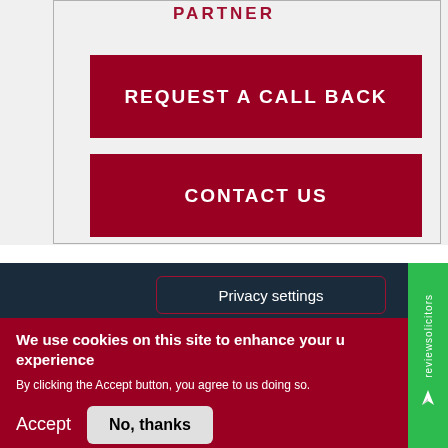PARTNER
REQUEST A CALL BACK
CONTACT US
Privacy settings
We use cookies on this site to enhance your user experience
By clicking the Accept button, you agree to us doing so.
Accept
No, thanks
reviewsolicitors